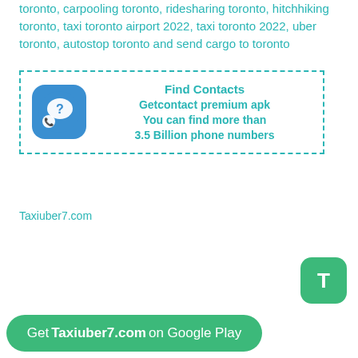toronto, carpooling toronto, ridesharing toronto, hitchhiking toronto, taxi toronto airport 2022, taxi toronto 2022, uber toronto, autostop toronto and send cargo to toronto
[Figure (advertisement): Ad box with dashed teal border. Contains a blue rounded-square icon with a phone/chat bubble and question mark. Text reads: Find Contacts / Getcontact premium apk / You can find more than / 3.5 Billion phone numbers]
Taxiuber7.com
[Figure (other): Green rounded square FAB button with white letter T]
Get Taxiuber7.com on Google Play